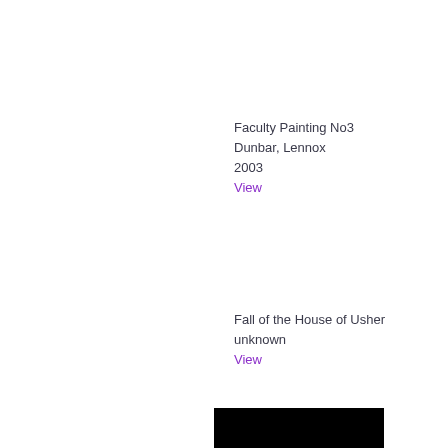Faculty Painting No3
Dunbar, Lennox
2003
View
Fall of the House of Usher
unknown
View
[Figure (photo): Black rectangle image partially visible at bottom right of page]